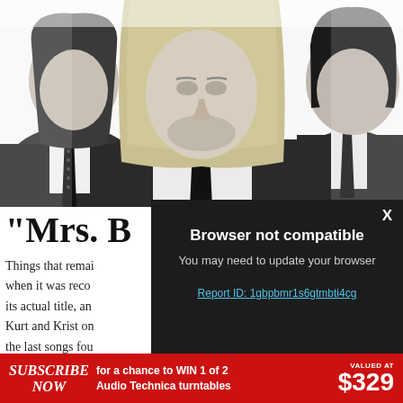[Figure (photo): Black and white photograph of three musicians (Nirvana band members) wearing suits and ties, shown from shoulders up against white background. Center figure has long blonde hair.]
“Mrs. B
Things that remai
when it was reco
its actual title, an
Kurt and Krist on
the last songs fou
[Figure (screenshot): Dark modal dialog with white text: 'Browser not compatible' heading, subtitle 'You may need to update your browser', and a link 'Report ID: 1gbpbmr1s6gtmbti4cg'. A white X close button is in the top right corner.]
Browser not compatible
You may need to update your browser
Report ID: 1gbpbmr1s6gtmbti4cg
SUBSCRIBE NOW  for a chance to WIN 1 of 2 Audio Technica turntables  VALUED AT $329